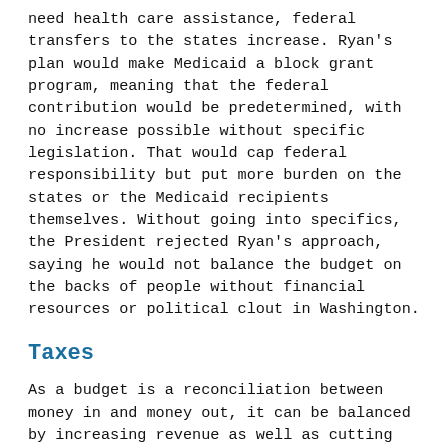need health care assistance, federal transfers to the states increase. Ryan's plan would make Medicaid a block grant program, meaning that the federal contribution would be predetermined, with no increase possible without specific legislation. That would cap federal responsibility but put more burden on the states or the Medicaid recipients themselves. Without going into specifics, the President rejected Ryan's approach, saying he would not balance the budget on the backs of people without financial resources or political clout in Washington.
Taxes
As a budget is a reconciliation between money in and money out, it can be balanced by increasing revenue as well as cutting spending. Taxes are the government's revenue source.
Ryan favors an overhaul of the tax system that would consolidate brackets and reduce some present rates while eliminating certain deductions and other mechanisms that currently allow some people to lower their tax obligations. The highest tax rate would drop